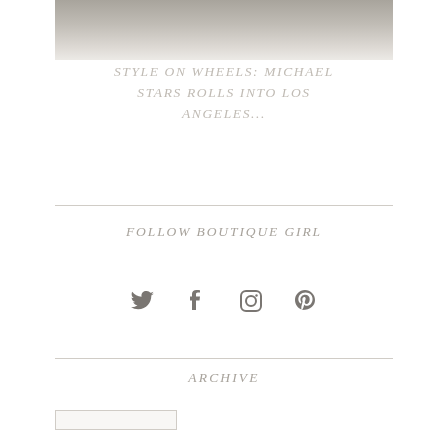[Figure (photo): Partial photo showing a car/vehicle scene, cropped at the top of the page, muted gray tones]
STYLE ON WHEELS: MICHAEL STARS ROLLS INTO LOS ANGELES...
FOLLOW BOUTIQUE GIRL
[Figure (infographic): Social media icons: Twitter bird, Facebook f, Instagram camera, Pinterest p]
ARCHIVE